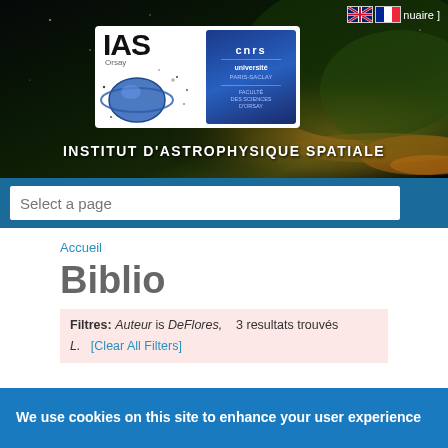[Figure (logo): IAS Institut d'Astrophysique Spatiale header banner with space background, IAS logo and CNRS/Universite Paris-Saclay logos]
INSTITUT D'ASTROPHYSIQUE SPATIALE
Select a page
Accueil
Biblio
Filtres: Auteur is DeFlores,   3 resultats trouvés
L.  [Clear All Filters]
2021
We use cookies on this site to enhance your user experience